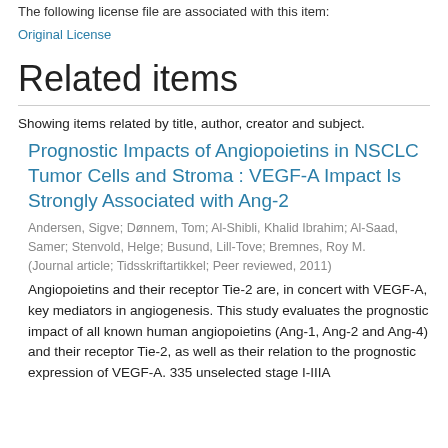The following license file are associated with this item:
Original License
Related items
Showing items related by title, author, creator and subject.
Prognostic Impacts of Angiopoietins in NSCLC Tumor Cells and Stroma : VEGF-A Impact Is Strongly Associated with Ang-2
Andersen, Sigve; Dønnem, Tom; Al-Shibli, Khalid Ibrahim; Al-Saad, Samer; Stenvold, Helge; Busund, Lill-Tove; Bremnes, Roy M. (Journal article; Tidsskriftartikkel; Peer reviewed, 2011)
Angiopoietins and their receptor Tie-2 are, in concert with VEGF-A, key mediators in angiogenesis. This study evaluates the prognostic impact of all known human angiopoietins (Ang-1, Ang-2 and Ang-4) and their receptor Tie-2, as well as their relation to the prognostic expression of VEGF-A. 335 unselected stage I-IIIA